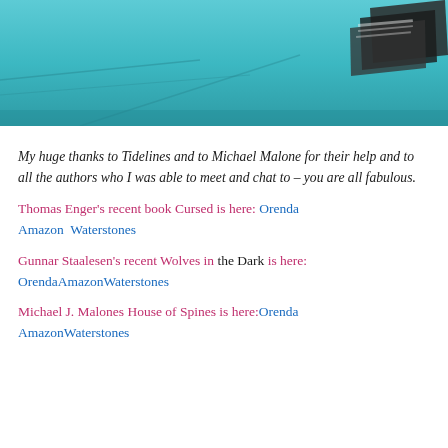[Figure (photo): Partial photo showing a teal/turquoise table surface with some printed materials or books stacked in the upper right corner.]
My huge thanks to Tidelines and to Michael Malone for their help and to all the authors who I was able to meet and chat to – you are all fabulous.
Thomas Enger's recent book Cursed is here: Orenda  Amazon  Waterstones
Gunnar Staalesen's recent Wolves in the Dark is here: OrendaAmazonWaterstones
Michael J. Malones House of Spines is here:Orenda  AmazonWaterstones